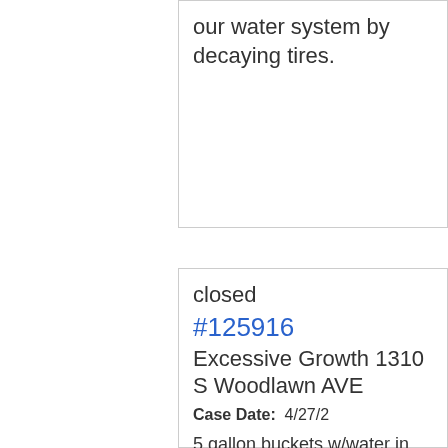our water system by decaying tires.
closed #125916 Excessive Growth 1310 S Woodlawn AVE
Case Date: 4/27/2
5 gallon buckets w/water in yard,